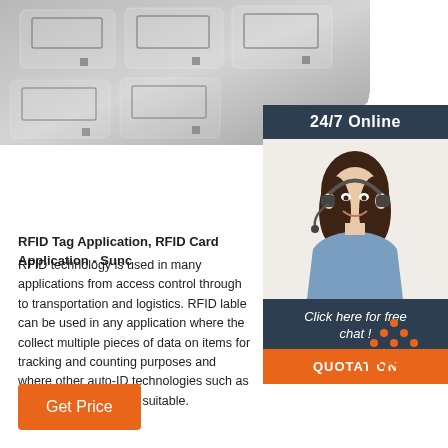[Figure (photo): RFID tags/labels arranged in a curved roll, gray metallic appearance with grid-like antenna patterns]
[Figure (photo): 24/7 Online customer support agent - woman wearing headset, smiling, in blue shirt against white background. Sidebar with dark blue background showing '24/7 Online' banner, agent photo, 'Click here for free chat!' text, and orange QUOTATION button]
RFID Tag Application, RFID Card Application - Sunc
RFID technology is used in many applications from access control through to transportation and logistics. RFID lable can be used in any application where the collect multiple pieces of data on items for tracking and counting purposes and where other auto-ID technologies such as barcodes, etc. are not suitable.
[Figure (infographic): Orange 'TOP' button with orange dot triangle/arrow icon above the text]
[Figure (other): Orange 'Get Price' button]